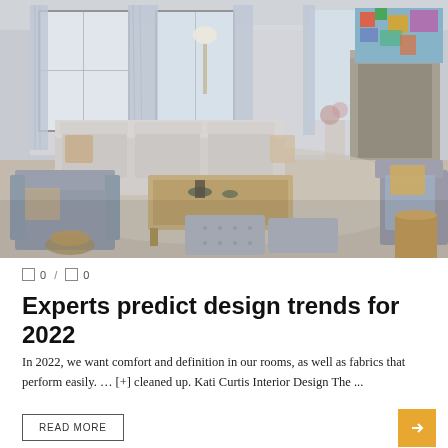[Figure (photo): Interior living room with large grey sofas, tufted ottoman coffee table, patterned curtains, fireplace with stone surround, and colorful wall art. Natural light from large windows.]
0  /  0
Experts predict design trends for 2022
In 2022, we want comfort and definition in our rooms, as well as fabrics that perform easily. … [+] cleaned up. Kati Curtis Interior Design The ...
READ MORE